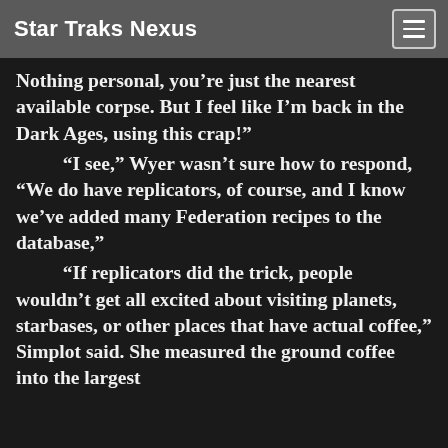Star Traks Nexus
Nothing personal, you’re just the nearest available corpse. But I feel like I’m back in the Dark Ages, using this crap!”
“I see,” Wyer wasn’t sure how to respond, “We do have replicators, of course, and I know we’ve added many Federation recipes to the database,”
“If replicators did the trick, people wouldn’t get all excited about visiting planets, starbases, or other places that have actual coffee,” Simplot said. She measured the ground coffee into the largest